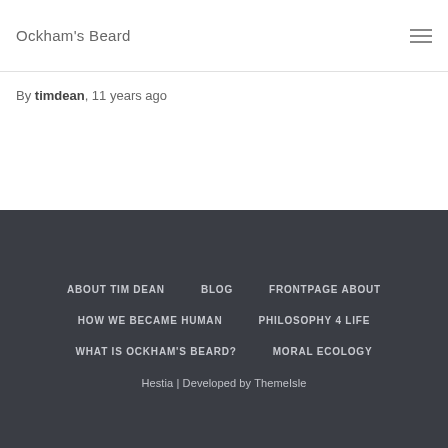Ockham's Beard
By timdean, 11 years ago
ABOUT TIM DEAN  BLOG  FRONTPAGE ABOUT  HOW WE BECAME HUMAN  PHILOSOPHY 4 LIFE  WHAT IS OCKHAM'S BEARD?  MORAL ECOLOGY  Hestia | Developed by ThemeIsle